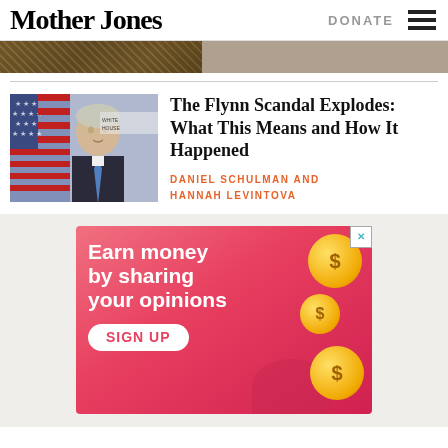Mother Jones
DONATE
[Figure (photo): Partial top image strip showing a person at a podium or event, cropped]
The Flynn Scandal Explodes: What This Means and How It Happened
DANIEL SCHULMAN AND HANNAH LEVINTOVA
[Figure (photo): Photo of Michael Flynn speaking at White House podium with American flag in background]
[Figure (infographic): Advertisement: Earn money by sharing your opinions. Sign Up button. Pink background with gold coin graphics.]